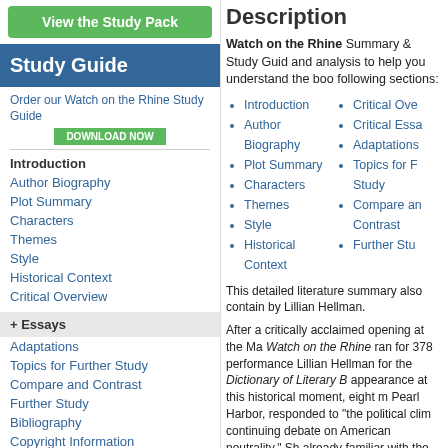[Figure (other): Green 'View the Study Pack' button]
Study Guide
Order our Watch on the Rhine Study Guide
[Figure (other): Green DOWNLOAD NOW button]
Introduction (bold)
Author Biography
Plot Summary
Characters
Themes
Style
Historical Context
Critical Overview
+ Essays
Adaptations
Topics for Further Study
Compare and Contrast
Further Study
Bibliography
Copyright Information
Order our Watch on the Rhine Study Guide
[Figure (other): Green DOWNLOAD NOW button]
Description
Watch on the Rhine Summary & Study Guide and analysis to help you understand the book. following sections:
Introduction
Author Biography
Plot Summary
Characters
Themes
Style
Historical Context
Critical Ove...
Critical Essa...
Adaptations
Topics for F... Study
Compare an... Contrast
Further Stu...
This detailed literature summary also contains by Lillian Hellman.
After a critically acclaimed opening at the Ma... Watch on the Rhine ran for 378 performance... Lillian Hellman for the Dictionary of Literary B... appearance at this historical moment, eight m... Pearl Harbor, responded to "the political clim... continuing debate on American neutrality." Sh... already familiar with the Nazi threat but had m... message within a domestic situation." Monao... dramatic crafting, Hellman warns that all "wh... were helping to perpetuate it and that no one... danger." Katherine Lederer, in her article on L... Authors Series Online stated that it was the "... and for the public. The reviews were glowing...